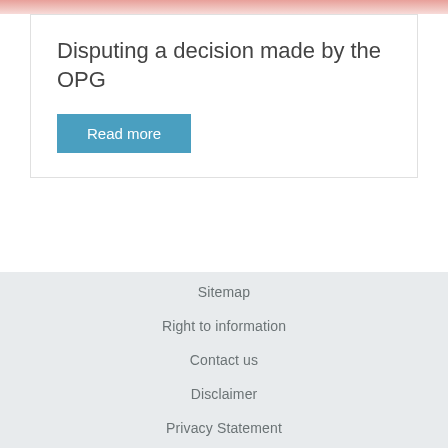[Figure (photo): Partial image at top of page showing red/pink tones, cropped]
Disputing a decision made by the OPG
Read more
Sitemap
Right to information
Contact us
Disclaimer
Privacy Statement